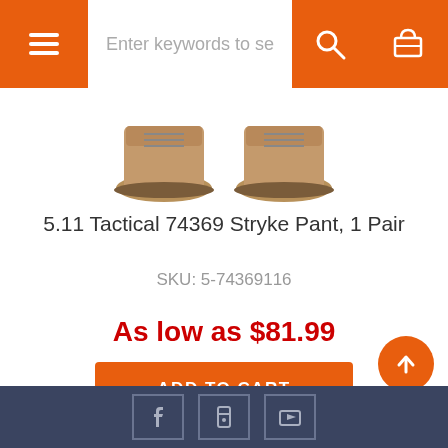Navigation bar with menu, search, and cart
[Figure (photo): Partial view of boots/shoes worn on feet, tan/brown tactical footwear]
5.11 Tactical 74369 Stryke Pant, 1 Pair
SKU: 5-74369116
As low as $81.99
ADD TO CART
[Figure (logo): Accessibility wheelchair icon badge]
[Figure (logo): Shopper Approved rating badge with 4 stars - Enviro Safety – BE SAFE!]
[Figure (other): Scroll to top orange circular button with upward arrow]
Footer with social media icon links on dark navy background